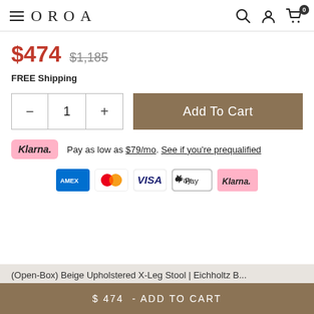OROA
$474  $1,185
FREE Shipping
1  Add To Cart
Klarna. Pay as low as $79/mo. See if you're prequalified
[Figure (other): Payment method icons: American Express, Mastercard, Visa, Apple Pay, Klarna]
(Open-Box) Beige Upholstered X-Leg Stool | Eichholtz B...  $474 - ADD TO CART